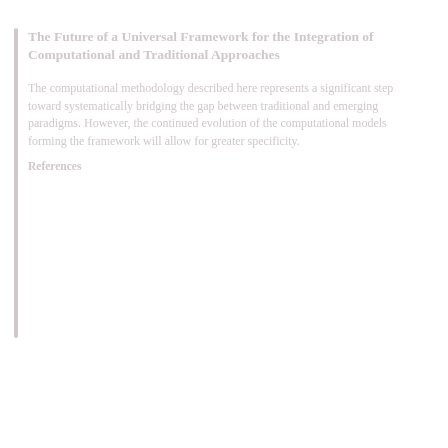The Future of a Universal Framework for the Integration of Computational and Traditional Approaches
The computational methodology described here represents a significant step toward systematically bridging the gap between traditional and emerging paradigms. However, the continued evolution of the computational models forming the framework will allow for greater specificity.
References